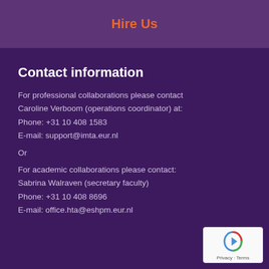Hire Us
Contact information
For professional collaborations please contact Caroline Verboom (operations coordinator) at:
Phone: +31 10 408 1583
E-mail: support@imta.eur.nl
Or
For academic collaborations please contact:
Sabrina Walraven (secretary faculty)
Phone: +31 10 408 8696
E-mail: office.hta@eshpm.eur.nl